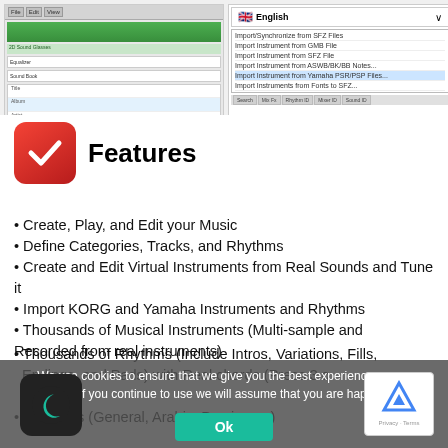[Figure (screenshot): Screenshot of a music software application interface showing toolbar, green navigation bar, grid/list area, and tabs. Right side shows a language selector dropdown with English and UK flag, plus a dropdown menu with import/export options.]
Features
Create, Play, and Edit your Music
Define Categories, Tracks, and Rhythms
Create and Edit Virtual Instruments from Real Sounds and Tune it
Import KORG and Yamaha Instruments and Rhythms
Thousands of Musical Instruments (Multi-sample and Recorded from real instruments)
We use cookies to ensure that we give you the best experience on our website. If you continue to use we will assume that you are happy with it.
Thousands of Rhythms (Include Intros, Variations, Fills, Endings, and Pads) with Real chords (Press 3 c keys)
Drum kits (General, Arabic, Persian, ...)